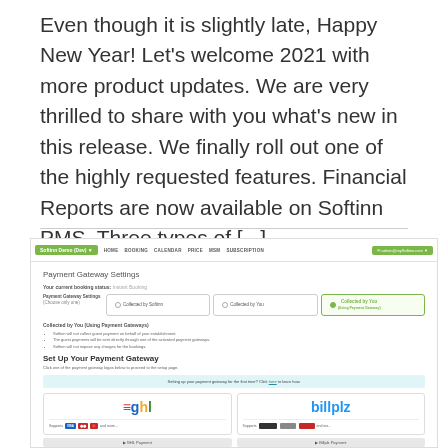Even though it is slightly late, Happy New Year! Let's welcome 2021 with more product updates. We are very thrilled to share with you what's new in this release. We finally roll out one of the highly requested features. Financial Reports are now available on Softinn PMS. Three types of [...]
[Figure (screenshot): Screenshot of Softinn PMS Payment Gateway Settings page showing nav bar with green logo, payment gateway options (Collected by Softinn, Collected by You, Collected by You Using Payment Gateway), bullet points about gateway behavior, Set Up Your Payment Gateway section with GHL and Billplz payment gateway cards.]